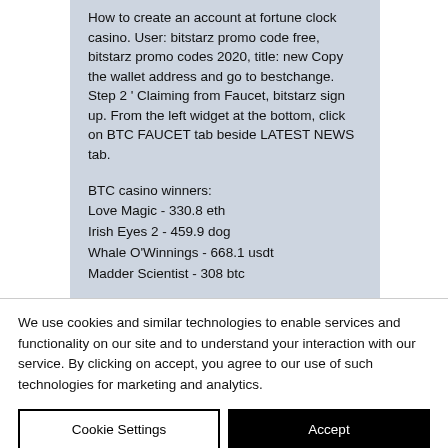How to create an account at fortune clock casino. User: bitstarz promo code free, bitstarz promo codes 2020, title: new Copy the wallet address and go to bestchange. Step 2 ' Claiming from Faucet, bitstarz sign up. From the left widget at the bottom, click on BTC FAUCET tab beside LATEST NEWS tab.
BTC casino winners:
Love Magic - 330.8 eth
Irish Eyes 2 - 459.9 dog
Whale O'Winnings - 668.1 usdt
Madder Scientist - 308 btc
We use cookies and similar technologies to enable services and functionality on our site and to understand your interaction with our service. By clicking on accept, you agree to our use of such technologies for marketing and analytics.